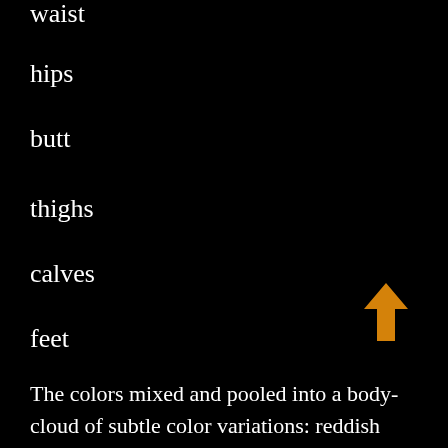waist
hips
butt
thighs
calves
feet
The colors mixed and pooled into a body-cloud of subtle color variations: reddish browns and rosy yellows on all the popular parts, violets for areas